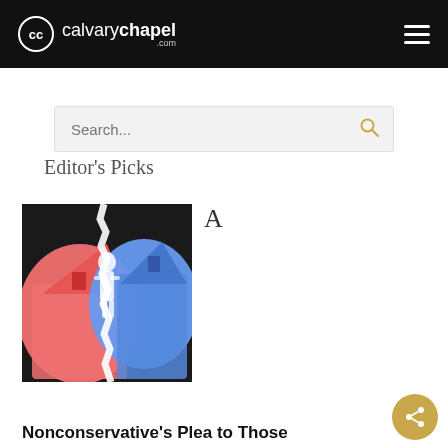calvarychapel.com
Search...
Editor's Picks
[Figure (photo): Split image showing a red-tinted church building on the left and a blue-tinted church building on the right, with a silhouetted figure in the middle against a white background, torn paper style separation.]
A
Nonconservative's Plea to Those